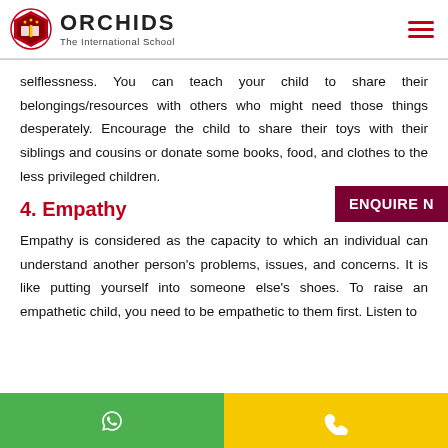ORCHIDS The International School
selflessness. You can teach your child to share their belongings/resources with others who might need those things desperately. Encourage the child to share their toys with their siblings and cousins or donate some books, food, and clothes to the less privileged children.
4. Empathy
Empathy is considered as the capacity to which an individual can understand another person's problems, issues, and concerns. It is like putting yourself into someone else's shoes. To raise an empathetic child, you need to be empathetic to them first. Listen to their concerns...